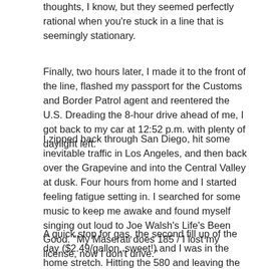thoughts, I know, but they seemed perfectly rational when you're stuck in a line that is seemingly stationary.
Finally, two hours later, I made it to the front of the line, flashed my passport for the Customs and Border Patrol agent and reentered the U.S. Dreading the 8-hour drive ahead of me, I got back to my car at 12:52 p.m. with plenty of daylight left.
I zipped back through San Diego, hit some inevitable traffic in Los Angeles, and then back over the Grapevine and into the Central Valley at dusk. Four hours from home and I started feeling fatigue setting in. I searched for some music to keep me awake and found myself singing out loud to Joe Walsh's Life's Been Good. "My Maserati does 185 / I lost my license, now I don't drive."
A quick stop for gas, the second fill up of the day ($2.49/gallon, sweet!) and I was in the home stretch. Hitting the 580 and leaving the boring I-5 behind, I got my second wind. Now the driving was fun again, winding up over the